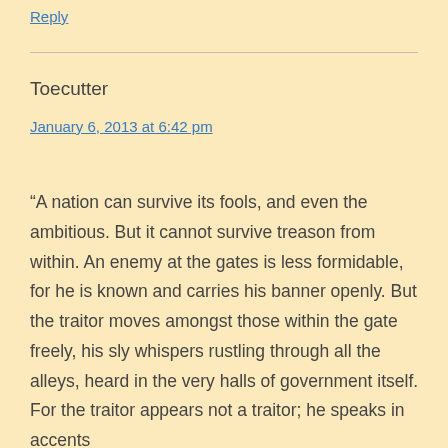Reply
Toecutter
January 6, 2013 at 6:42 pm
“A nation can survive its fools, and even the ambitious. But it cannot survive treason from within. An enemy at the gates is less formidable, for he is known and carries his banner openly. But the traitor moves amongst those within the gate freely, his sly whispers rustling through all the alleys, heard in the very halls of government itself. For the traitor appears not a traitor; he speaks in accents